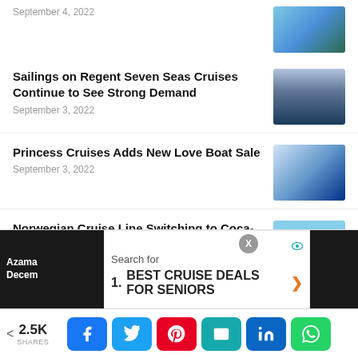September 4, 2022
Sailings on Regent Seven Seas Cruises Continue to See Strong Demand
September 3, 2022
Princess Cruises Adds New Love Boat Sale
September 3, 2022
Norwegian Cruise Line Switching to Coca-Cola
September 1, 2022
Search for
1. BEST CRUISE DEALS FOR SENIORS
2.5K SHARES